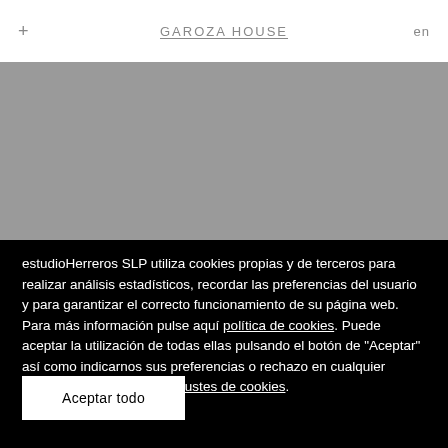GAROZA HOUSE
[Figure (photo): Gray placeholder image area representing a website hero image]
estudioHerreros SLP utiliza cookies propias y de terceros para realizar análisis estadísticos, recordar las preferencias del usuario y para garantizar el correcto funcionamiento de su página web. Para más información pulse aquí política de cookies. Puede aceptar la utilización de todas ellas pulsando el botón de "Aceptar" así como indicarnos sus preferencias o rechazo en cualquier momento, pulsando aquí ajustes de cookies.
Aceptar todo